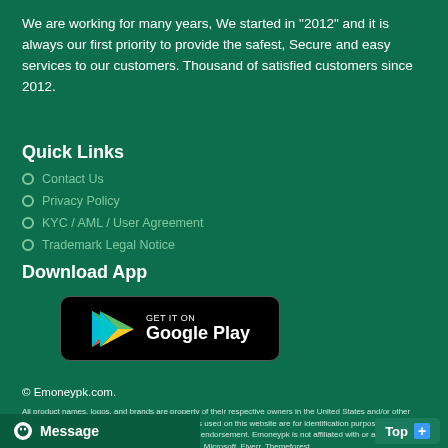We are working for many years, We started in "2012" and it is always our first priority to provide the safest, Secure and easy services to our customers. Thousand of satisfied customers since 2012.
Quick Links
Contact Us
Privacy Policy
KYC / AML / User Agreement
Trademark Legal Notice
Download App
[Figure (logo): Get it on Google Play button — black rounded rectangle with Google Play triangle logo and text 'GET IT ON Google Play']
© Emoneypk.com.
All product names, logos, and brands are property of their respective owners in the United States and/or other countries. All company, product and service names used on this website are for identification purposes only. Use of these names, logos, and brands does not imply endorsement. Emoneypk is not affiliated with or an official partner of PayPal, Payoneer, Skrill, eBay, Amazon, Microsoft, Fiverr, Themeforest.
Message
Top +